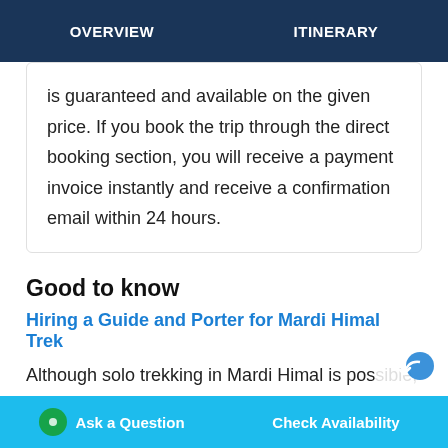OVERVIEW  ITINERARY
is guaranteed and available on the given price. If you book the trip through the direct booking section, you will receive a payment invoice instantly and receive a confirmation email within 24 hours.
Good to know
Hiring a Guide and Porter for Mardi Himal Trek
Although solo trekking in Mardi Himal is possible, if you hire a licensed guide or a porter then you will be quite on the safe side during the trek. You can hire a licensed guide for USD 20-25 dollars per day.
Guides are very helpful and help you communicate with
Ask a Question  Check Availability